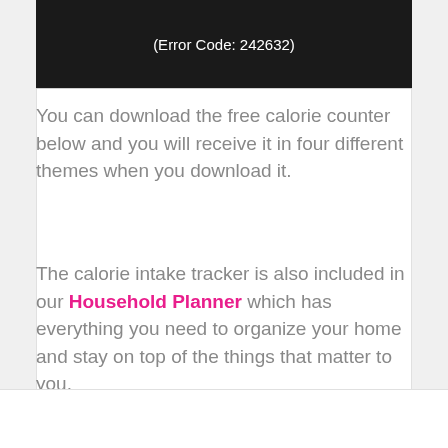[Figure (screenshot): Black video player area showing error code text '(Error Code: 242632)' in white text on black background]
You can download the free calorie counter below and you will receive it in four different themes when you download it.
The calorie intake tracker is also included in our Household Planner which has everything you need to organize your home and stay on top of the things that matter to you.